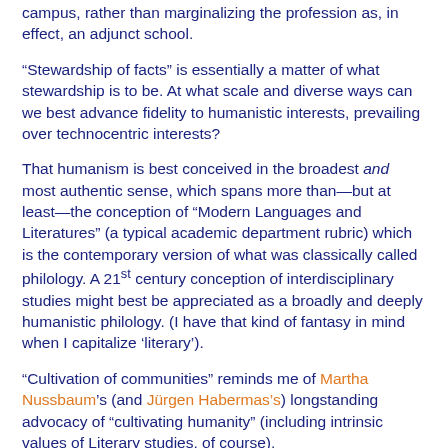campus, rather than marginalizing the profession as, in effect, an adjunct school.
“Stewardship of facts” is essentially a matter of what stewardship is to be. At what scale and diverse ways can we best advance fidelity to humanistic interests, prevailing over technocentric interests?
That humanism is best conceived in the broadest and most authentic sense, which spans more than—but at least—the conception of “Modern Languages and Literatures” (a typical academic department rubric) which is the contemporary version of what was classically called philology. A 21st century conception of interdisciplinary studies might best be appreciated as a broadly and deeply humanistic philology. (I have that kind of fantasy in mind when I capitalize ‘literary’).
“Cultivation of communities” reminds me of Martha Nussbaum’s (and Jürgen Habermas’s) longstanding advocacy of “cultivating humanity” (including intrinsic values of Literary studies, of course).
The image of a broader set of conditions for bibliographic...